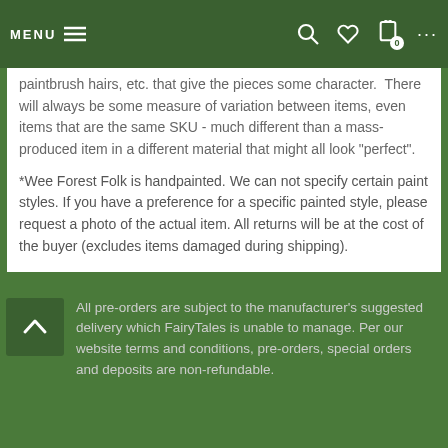MENU
paintbrush hairs, etc. that give the pieces some character. There will always be some measure of variation between items, even items that are the same SKU - much different than a mass-produced item in a different material that might all look “perfect”.
*Wee Forest Folk is handpainted. We can not specify certain paint styles. If you have a preference for a specific painted style, please request a photo of the actual item. All returns will be at the cost of the buyer (excludes items damaged during shipping).
All pre-orders are subject to the manufacturer's suggested delivery which FairyTales is unable to manage. Per our website terms and conditions, pre-orders, special orders and deposits are non-refundable.